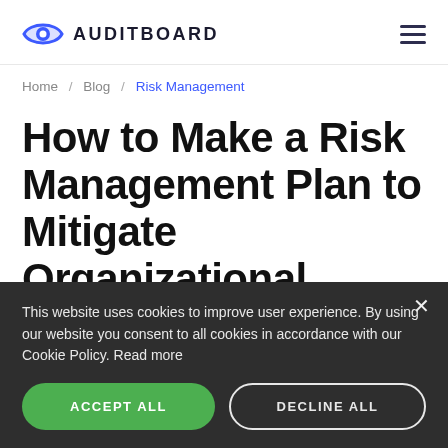AUDITBOARD
Home / Blog / Risk Management
How to Make a Risk Management Plan to Mitigate Organizational Risks
This website uses cookies to improve user experience. By using our website you consent to all cookies in accordance with our Cookie Policy. Read more
ACCEPT ALL | DECLINE ALL